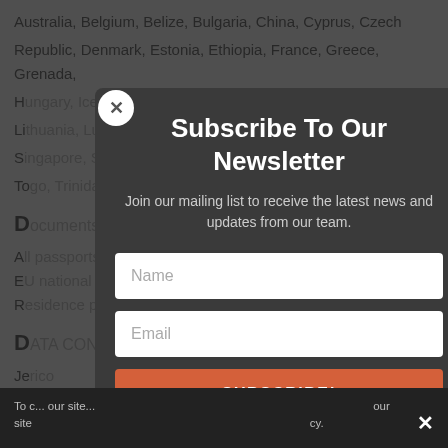Australia, Belgium, Belize, Bulgaria, China, Cyprus, Czech Republic, Denmark, Estonia, Ethiopia, France, Greece, Grenada, H..., ..., ..., ..., ..., ..., ..., ..., en, Li..., S..., To..., ...n
D...
A...
E...
R...
D...
Je...
Subscribe To Our Newsletter
Join our mailing list to receive the latest news and updates from our team.
Name
Email
SUBSCRIBE!
To c... our site... cy.